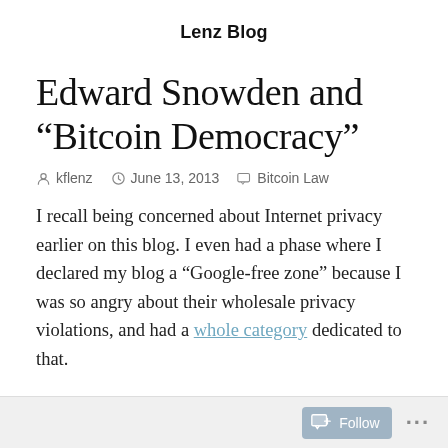Lenz Blog
Edward Snowden and “Bitcoin Democracy”
kflenz   June 13, 2013   Bitcoin Law
I recall being concerned about Internet privacy earlier on this blog. I even had a phase where I declared my blog a “Google-free zone” because I was so angry about their wholesale privacy violations, and had a whole category dedicated to that.
Follow ...